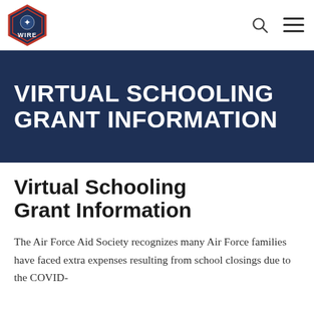[Figure (logo): Black Hills Wire hexagon logo with eagle emblem and 'WIRE' text in white on dark navy/red border background]
🔍  ☰
VIRTUAL SCHOOLING GRANT INFORMATION
Virtual Schooling Grant Information
The Air Force Aid Society recognizes many Air Force families have faced extra expenses resulting from school closings due to the COVID-